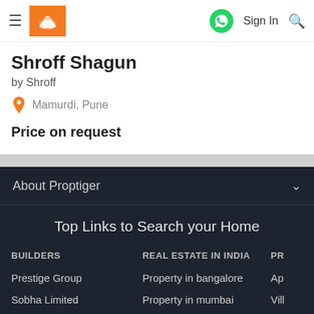Shroff Shagun by Shroff — Mamurdi, Pune — Price on request
Shroff Shagun
by Shroff
Mamurdi, Pune
Price on request
About Proptiger
Top Links to Search your Home
BUILDERS
Prestige Group
Sobha Limited
Kolte Patil Developers
REAL ESTATE IN INDIA
Property in bangalore
Property in mumbai
Property in pune